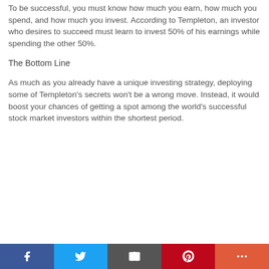To be successful, you must know how much you earn, how much you spend, and how much you invest. According to Templeton, an investor who desires to succeed must learn to invest 50% of his earnings while spending the other 50%.
The Bottom Line
As much as you already have a unique investing strategy, deploying some of Templeton's secrets won't be a wrong move. Instead, it would boost your chances of getting a spot among the world's successful stock market investors within the shortest period.
[Figure (other): Social sharing bar with Facebook, Twitter, Email, Pinterest, and More buttons]